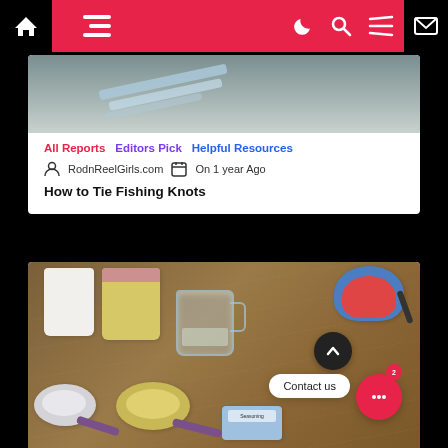Navigation bar with home, menu, dark mode, search, hamburger, mail icons
[Figure (photo): Partial image of pencils or art supplies on a light background, cropped at top]
All Reports   Editors Pick   Helpful Resources
RodnReelGirls.com   On 1 year Ago
How to Tie Fishing Knots
[Figure (photo): Baking ingredients on a wooden table: white flour bag, yellow container, measuring cup with water, blue bowl with orange interior, measuring scoops with white and yellow powder, spice container. Contact us chat bubble overlay with pink chat button.]